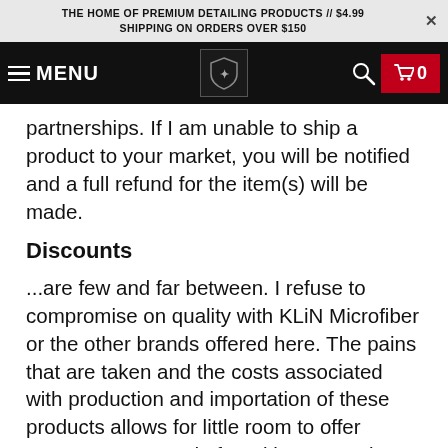THE HOME OF PREMIUM DETAILING PRODUCTS // $4.99 SHIPPING ON ORDERS OVER $150
[Figure (screenshot): Website navigation bar with hamburger menu icon, MENU text, shield logo, search icon, and red cart button showing 0 items]
partnerships. If I am unable to ship a product to your market, you will be notified and a full refund for the item(s) will be made.
Discounts
...are few and far between. I refuse to compromise on quality with KLiN Microfiber or the other brands offered here. The pains that are taken and the costs associated with production and importation of these products allows for little room to offer customers. Instead of marking up to give 'percentage sales' on items, the price is the price. I ask that my customers look past the business practices of others. Quality is the only goal with these products, and the value presented is far beyond comparative products. I do the very best I